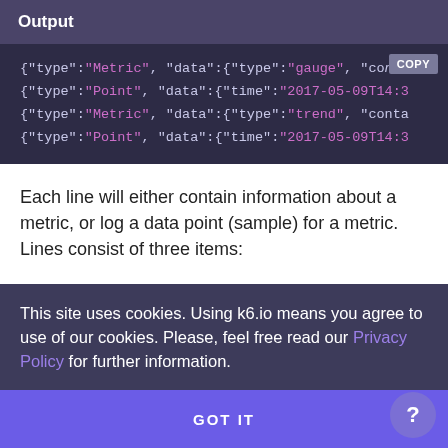Output
[Figure (screenshot): Code output block showing four JSON lines with type and data fields, with a COPY button in top-right corner. Lines show Metric/gauge, Point/time, Metric/trend, Point/time entries.]
Each line will either contain information about a metric, or log a data point (sample) for a metric. Lines consist of three items:
This site uses cookies. Using k6.io means you agree to use of our cookies. Please, feel free read our Privacy Policy for further information.
GOT IT